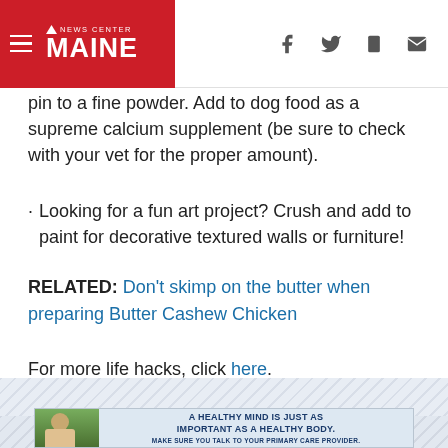News Center Maine
pin to a fine powder. Add to dog food as a supreme calcium supplement (be sure to check with your vet for the proper amount).
Looking for a fun art project? Crush and add to paint for decorative textured walls or furniture!
RELATED: Don't skimp on the butter when preparing Butter Cashew Chicken
For more life hacks, click here.
[Figure (other): Advertisement banner: A healthy mind is just as important as a healthy body. Make sure you talk to your primary care provider.]